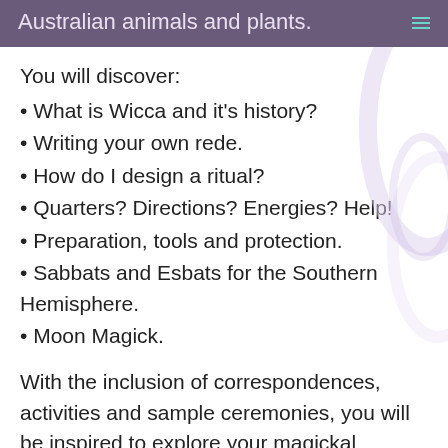Australian animals and plants.
You will discover:
What is Wicca and it's history?
Writing your own rede.
How do I design a ritual?
Quarters? Directions? Energies? Help!
Preparation, tools and protection.
Sabbats and Esbats for the Southern Hemisphere.
Moon Magick.
With the inclusion of correspondences, activities and sample ceremonies, you will be inspired to explore your magickal abilities and enhance your ritual workings.